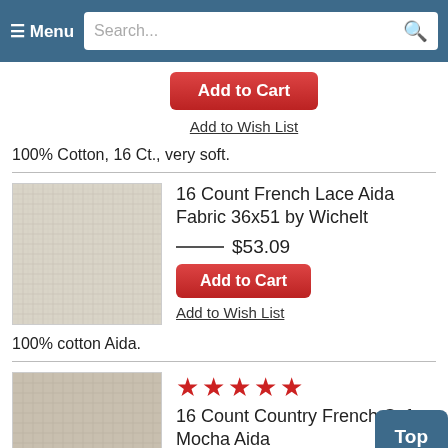Menu | Search...
[Figure (screenshot): Red Add to Cart button]
Add to Wish List
100% Cotton, 16 Ct., very soft.
[Figure (photo): Light gray/beige woven Aida fabric texture]
16 Count French Lace Aida Fabric 36x51 by Wichelt
$53.09
[Figure (screenshot): Red Add to Cart button]
Add to Wish List
100% cotton Aida.
[Figure (photo): Tan/mocha woven Aida fabric texture]
★★★★★
16 Count Country French Cafe Mocha Aida